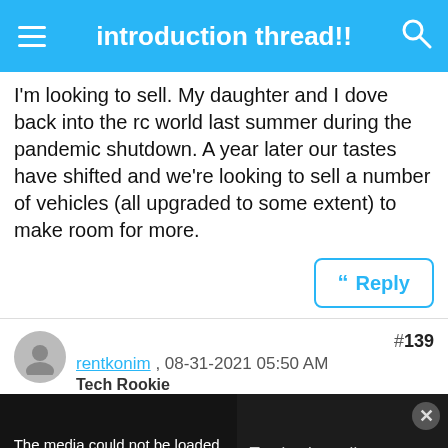introduction thread!!
I'm looking to sell. My daughter and I dove back into the rc world last summer during the pandemic shutdown. A year later our tastes have shifted and we're looking to sell a number of vehicles (all upgraded to some extent) to make room for more.
Reply
#139
rentkonim , 08-31-2021 05:50 AM
Tech Rookie
[Figure (screenshot): Media player error overlay showing 'The media could not be loaded, either because the server or network failed or because the format is not supported.' with a dark background showing text 'Total solar eclipse brings rare darkness to Antarctica' on the right side and an X close button]
the association and the people and activities they had. I